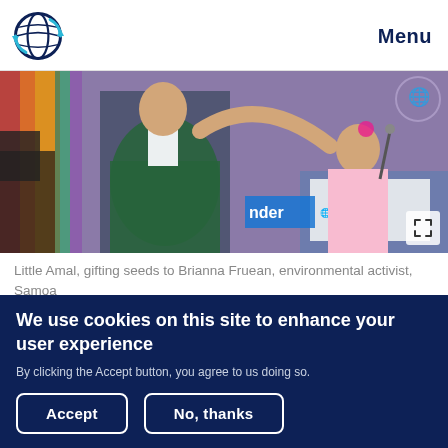Menu
[Figure (photo): A scene at a conference stage showing a large puppet figure (Little Amal) gifting seeds to a young woman (Brianna Fruean) at a COP26 podium. The UN emblem is visible in the background. Colorful textiles hang in the background.]
Little Amal, gifting seeds to Brianna Fruean, environmental activist, Samoa
The Glasgow Climate Change conference
We use cookies on this site to enhance your user experience
By clicking the Accept button, you agree to us doing so.
Accept
No, thanks